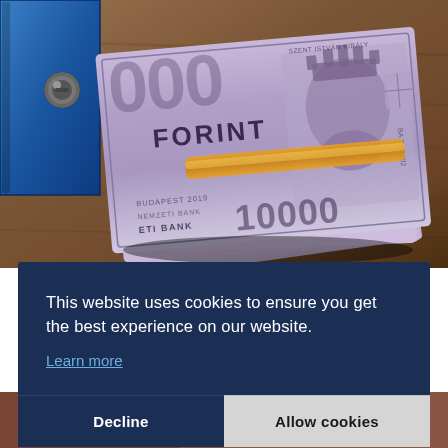[Figure (photo): A stack of Hungarian 10000 Forint banknotes held together with an elastic/rubber band, placed near a blue binder on a wooden surface. The banknote shows 'FORINT', '10000', 'BUDAPEST 2019', 'NEMZETI BANK', and 'SZENT ISTVAN KIRALY' with a portrait.]
This website uses cookies to ensure you get the best experience on our website.
Learn more
Decline
Allow cookies
[Figure (photo): Partial view of another image below the cookie banner, showing what appears to be people or objects in red colors, partially obscured.]